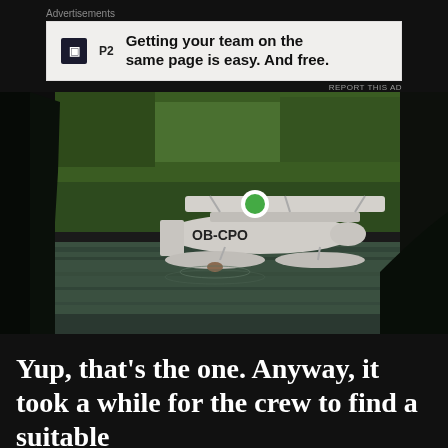Advertisements
[Figure (infographic): Advertisement banner for P2: 'Getting your team on the same page is easy. And free.' with a dark square logo icon and REPORT THIS AD link.]
[Figure (photo): A seaplane with registration OB-CPO on a river or lake surrounded by dense green tropical trees. A person is visible in the water near the plane.]
Yup, that's the one. Anyway, it took a while for the crew to find a suitable